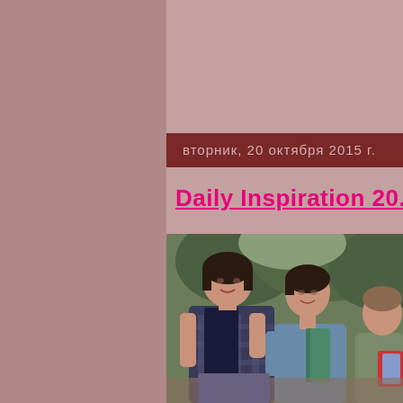вторник, 20 октября 2015 г.
Daily Inspiration 20.10.20
[Figure (photo): Vintage color photograph of three young women/girls outdoors, smiling. One in foreground with short dark hair wearing a checked dress, another in a blue sweater holding green folders, and a third partially visible on the right holding a red-bordered item. Trees visible in background.]